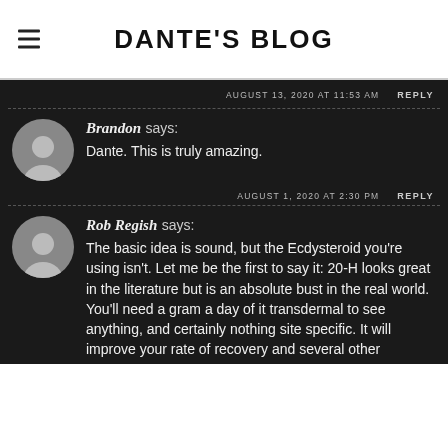DANTE'S BLOG
AUGUST 13, 2020 AT 11:53 AM   REPLY
Brandon says:
Dante. This is truly amazing.
AUGUST 1, 2020 AT 2:30 PM   REPLY
Rob Regish says:
The basic idea is sound, but the Ecdysteroid you're using isn't. Let me be the first to say it: 20-H looks great in the literature but is an absolute bust in the real world. You'll need a gram a day of it transdermal to see anything, and certainly nothing site specific. It will improve your rate of recovery and several other